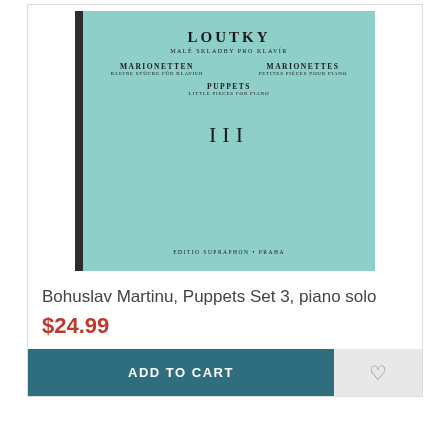[Figure (photo): Book cover of Loutky (Puppets) Set III by Bohuslav Martinu, a light teal/mint green cover with text in multiple languages: Czech (Loutky / Malé skladby pro klavír), German (Marionetten / Kleine Stücke für Klavier), French (Marionettes / Petites pièces pour piano), English (Puppets / Little Pieces for Piano), Roman numeral III in center, published by Editio Supraphon, Praha. Dark spine visible on left.]
Bohuslav Martinu, Puppets Set 3, piano solo
$24.99
ADD TO CART